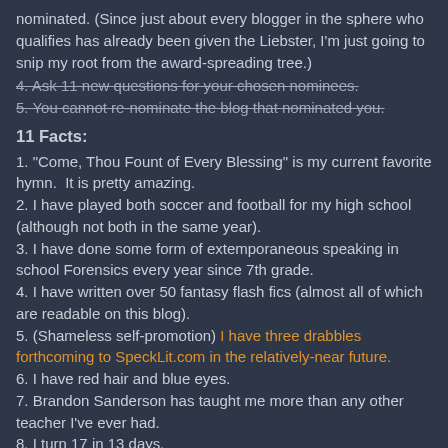nominated. (Since just about every blogger in the sphere who qualifies has already been given the Liebster, I'm just going to snip my root from the award-spreading tree.)
4. Ask 11 new questions for your chosen nominees. [strikethrough]
5. You cannot re-nominate the blog that nominated you. [strikethrough]
11 Facts:
1. "Come, Thou Fount of Every Blessing" is my current favorite hymn.  It is pretty amazing.
2. I have played both soccer and football for my high school (although not both in the same year).
3. I have done some form of extemporaneous speaking in school Forensics every year since 7th grade.
4. I have written over 50 fantasy flash fics (almost all of which are readable on this blog).
5. (Shameless self-promotion) I have three drabbles forthcoming to SpeckLit.com in the relatively-near future.
6. I have red hair and blue eyes.
7. Brandon Sanderson has taught me more than any other teacher I've ever had.
8. I turn 17 in 13 days.
9. I am asking for a feather duster for my birthday.
10. [partially visible]